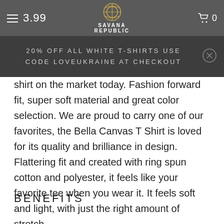3.99 | SAVANA REPUBLIC | 0
20% OFF ALL WHITE T-SHIRTS USE CODE LOVEUKRAINE AT CHECKOUT
shirt on the market today. Fashion forward fit, super soft material and great color selection. We are proud to carry one of our favorites, the Bella Canvas T Shirt is loved for its quality and brilliance in design. Flattering fit and created with ring spun cotton and polyester, it feels like your favorite tee when you wear it. It feels soft and light, with just the right amount of stretch.
BENEFITS